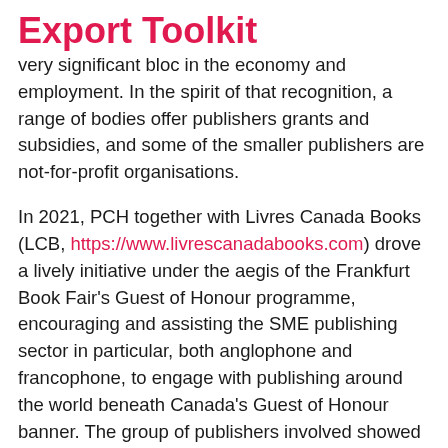Export Toolkit
very significant bloc in the economy and employment. In the spirit of that recognition, a range of bodies offer publishers grants and subsidies, and some of the smaller publishers are not-for-profit organisations.
In 2021, PCH together with Livres Canada Books (LCB, https://www.livrescanadabooks.com) drove a lively initiative under the aegis of the Frankfurt Book Fair's Guest of Honour programme, encouraging and assisting the SME publishing sector in particular, both anglophone and francophone, to engage with publishing around the world beneath Canada's Guest of Honour banner. The group of publishers involved showed excitement and enthusiasm at the prospect and then the reality of engaging with the international publishing community, and of adding a new, broadening dimension to their activities. Although LCB's mission is to aid Canadian publishers to export,